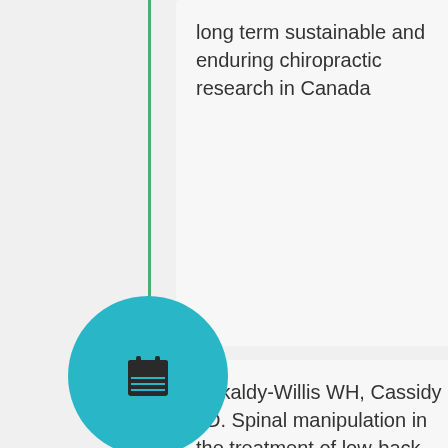long term sustainable and enduring chiropractic research in Canada
Kirkaldy-Willis WH, Cassidy JD. Spinal manipulation in the treatment of low-back pain. First Study on Chiropractic in a Medical Journal, Co-Authored by Chiropractor and Medical